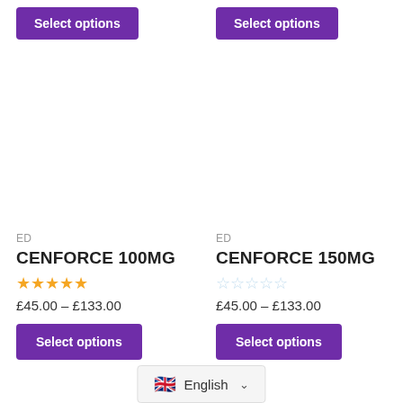Select options (top left button)
Select options (top right button)
ED
CENFORCE 100MG
[Figure (other): 5 filled gold stars rating]
£45.00 – £133.00
Select options
ED
CENFORCE 150MG
[Figure (other): 5 empty blue stars rating]
£45.00 – £133.00
Select options
English